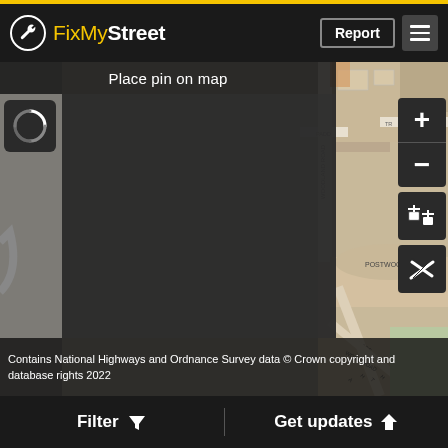[Figure (screenshot): FixMyStreet web app screenshot showing a map interface with 'Place pin on map' banner, loading spinner, map controls (zoom in/out, satellite, layers), and street map of an area showing Woodland Road, Postwood Green, Priors Wood Road. Header has FixMyStreet logo, Report button, and menu icon. Bottom bar has Filter and Get updates buttons.]
FixMyStreet
Place pin on map
Contains National Highways and Ordnance Survey data © Crown copyright and database rights 2022
Filter  Get updates